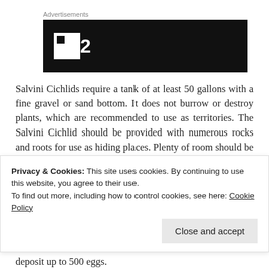Advertisements
[Figure (screenshot): Advertisement banner with black background showing a logo with a white square and the number 2]
Salvini Cichlids require a tank of at least 50 gallons with a fine gravel or sand bottom. It does not burrow or destroy plants, which are recommended to use as territories. The Salvini Cichlid should be provided with numerous rocks and roots for use as hiding places. Plenty of room should be left for open swimming. They may be housed with smaller fish that are also more aggressive, but be aware, they are territorial and will bite each other.
Privacy & Cookies: This site uses cookies. By continuing to use this website, you agree to their use.
To find out more, including how to control cookies, see here: Cookie Policy
deposit up to 500 eggs.